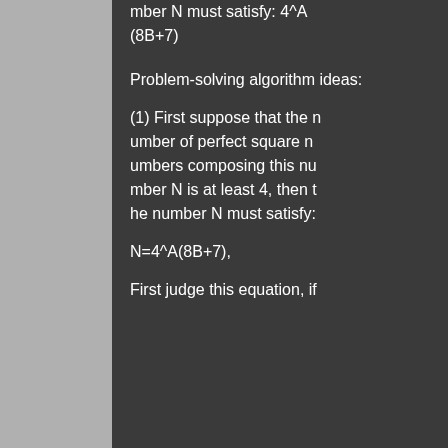mber N must satisfy: 4^A(8B+7)
Problem-solving algorithm ideas:
(1) First suppose that the number of perfect square numbers composing this number N is at least 4, then the number N must satisfy:
N=4^A(8B+7),
First judge this equation, if